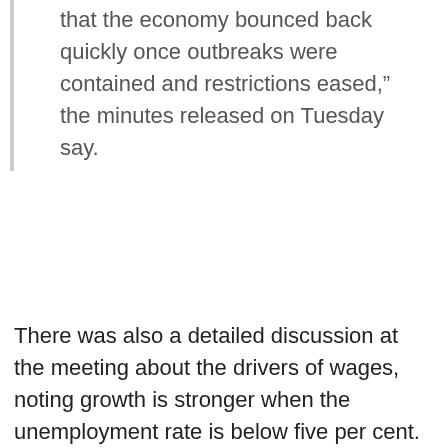that the economy bounced back quickly once outbreaks were contained and restrictions eased," the minutes released on Tuesday say.
There was also a detailed discussion at the meeting about the drivers of wages, noting growth is stronger when the unemployment rate is below five per cent.
The jobless rate fell to a decade low of 4.9 per cent in June figures released last week, although it is questionable whether its recent rapid decline can continue in the near term when the economy is in decline.
“Of course, the meeting pre-dates the escalation in the health crisis with lockdowns in Australia’s two